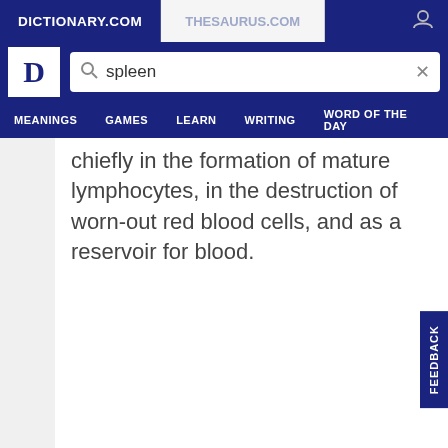DICTIONARY.COM | THESAURUS.COM
[Figure (screenshot): Dictionary.com search bar with query 'spleen' and navigation menu with MEANINGS, GAMES, LEARN, WRITING, WORD OF THE DAY]
chiefly in the formation of mature lymphocytes, in the destruction of worn-out red blood cells, and as a reservoir for blood.